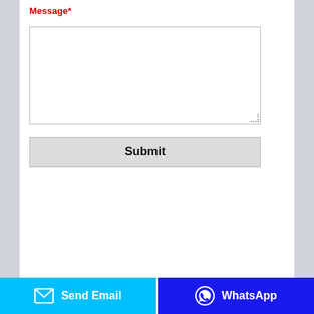Message*
[textarea input field]
Submit
[Figure (screenshot): Product images partially visible at bottom of white panel]
Send Email
WhatsApp